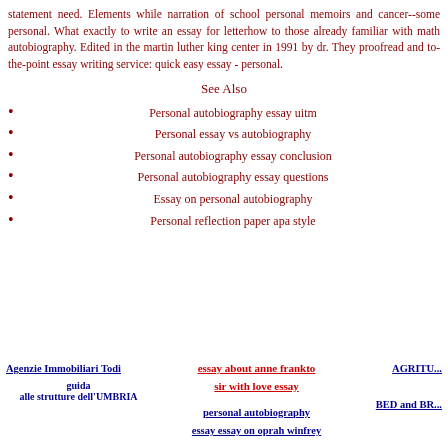statement need. Elements while narration of school personal memoirs and cancer--some personal. What exactly to write an essay for letterhow to those already familiar with math autobiography. Edited in the martin luther king center in 1991 by dr. They proofread and to-the-point essay writing service: quick easy essay - personal.
See Also
Personal autobiography essay uitm
Personal essay vs autobiography
Personal autobiography essay conclusion
Personal autobiography essay questions
Essay on personal autobiography
Personal reflection paper apa style
Agenzie Immobiliari Todi
guida alle strutture dell'UMBRIA
essay about anne frankto sir with love essay
personal autobiography essay essay on oprah winfrey
AGRITU...
BED and BR...